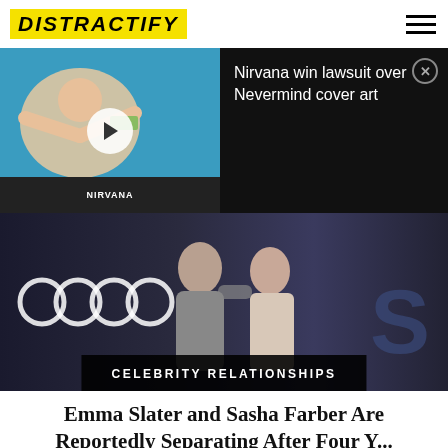DISTRACTIFY
[Figure (screenshot): Video thumbnail showing underwater baby swimming scene (Nirvana Nevermind cover), with play button overlay. Black panel on right with text: Nirvana win lawsuit over Nevermind cover art, with close button.]
[Figure (photo): Two people posing together at an Audi-branded event backdrop. Category label bar reads: CELEBRITY RELATIONSHIPS]
Emma Slater and Sasha Farber Are Reportedly Separating After Four Y...
[Figure (screenshot): Advertisement banner with orange logo, checkmarks for Dine-in and Curbside pickup, and a blue diamond-shaped arrow icon.]